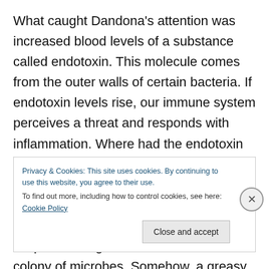What caught Dandona's attention was increased blood levels of a substance called endotoxin. This molecule comes from the outer walls of certain bacteria. If endotoxin levels rise, our immune system perceives a threat and responds with inflammation. Where had the endotoxin come from? We all carry a few pounds' worth of microbes in our gut, a complex ecosystem collectively called the microbiota. The endotoxin, Dandona suspected, originated in this native colony of microbes. Somehow, a greasy meal full of refined carbohydrates ushered it from the gut, where
Privacy & Cookies: This site uses cookies. By continuing to use this website, you agree to their use. To find out more, including how to control cookies, see here: Cookie Policy
Close and accept